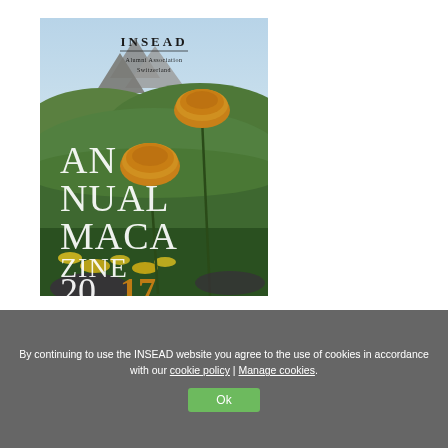[Figure (illustration): INSEAD Alumni Association Switzerland Annual Magazine 2017 cover. Shows alpine mountain landscape with orange poppies in foreground against green hillsides and blue sky. Text overlaid: INSEAD / Alumni Association / Switzerland / AN NUAL MACA ZINE / 2017]
By continuing to use the INSEAD website you agree to the use of cookies in accordance with our cookie policy | Manage cookies.